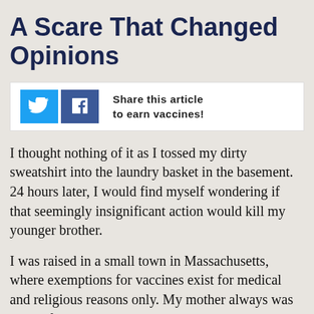A Scare That Changed Opinions
[Figure (infographic): Social sharing widget with Twitter and Facebook icons and text 'Share this article to earn vaccines!']
I thought nothing of it as I tossed my dirty sweatshirt into the laundry basket in the basement. 24 hours later, I would find myself wondering if that seemingly insignificant action would kill my younger brother.
I was raised in a small town in Massachusetts, where exemptions for vaccines exist for medical and religious reasons only. My mother always was wary of vaccines - she objected to the idea that